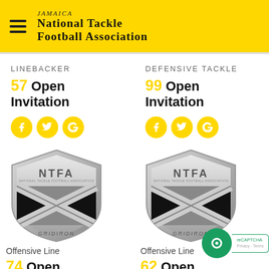Jamaica National Tackle Football Association
LINEBACKER
57 Open Invitation
DEFENSIVE TACKLE
99 Open Invitation
[Figure (logo): NTFA Jamaica Gridiron shield logo (silver, left)]
[Figure (logo): NTFA Jamaica Gridiron shield logo (silver, right)]
Offensive Line
74 Open Invitation
Offensive Line
62 Open Invitation